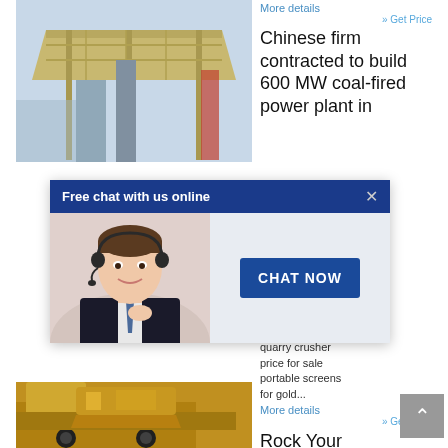[Figure (photo): Industrial structure/building exterior, light beige/grey tones, appears to be mining or industrial facility.]
More details
» Get Price
Chinese firm contracted to build 600 MW coal-fired power plant in
[Figure (photo): Free chat with us online popup overlay featuring a customer service agent with headset and a CHAT NOW button on dark blue background.]
... prices ..... gold e in south africa quarry crusher price for sale portable screens for gold...
More details
» Get Price
Rock Your Crusher With
[Figure (photo): Yellow/gold construction or mining machinery, partial view.]